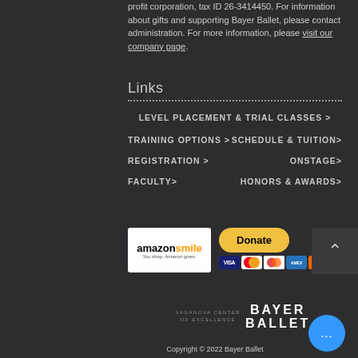profit corporation, tax ID 26-3414450. For information about gifts and supporting Bayer Ballet, please contact administration. For more information, please visit our company page.
Links
LEVEL PLACEMENT & TRIAL CLASSES >
TRAINING OPTIONS >
SCHEDULE & TUITION>
REGISTRATION >
ONSTAGE>
FACULTY>
HONORS & AWARDS>
[Figure (logo): Amazon Smile logo — You shop. Amazon gives.]
[Figure (infographic): PayPal Donate button with credit card icons (VISA, Mastercard, Maestro, American Express, Discover)]
[Figure (logo): Bayer Ballet — Vaganova Center of Excellence logo]
Copyright © 2022 Bayer Ballet